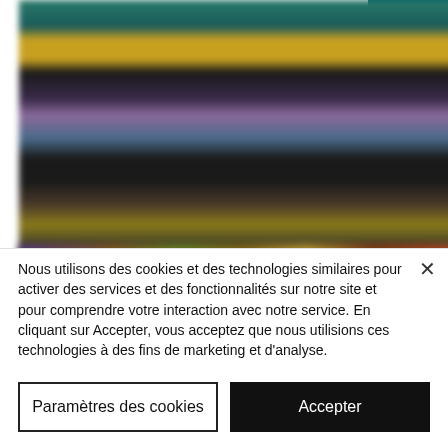[Figure (screenshot): Blurred screenshot of a streaming/gaming website showing colorful thumbnails on a dark background]
[Figure (screenshot): Blurred strip of a second screenshot showing colorful content thumbnails]
[Figure (screenshot): Right panel with teal/dark blue textured background]
Nous utilisons des cookies et des technologies similaires pour activer des services et des fonctionnalités sur notre site et pour comprendre votre interaction avec notre service. En cliquant sur Accepter, vous acceptez que nous utilisions ces technologies à des fins de marketing et d'analyse.
Paramètres des cookies
Accepter